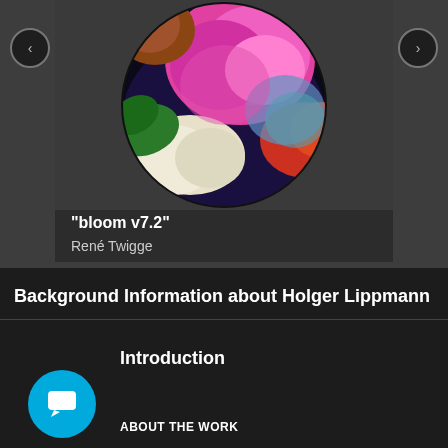[Figure (photo): Circular artwork showing colorful flowers (pink, white, orange blooms) on a dark background, displayed in a card with navigation arrows on left and right]
"bloom v7.2"
René Twigge
Background Information about Holger Lippmann
Introduction
ABOUT THE WORK